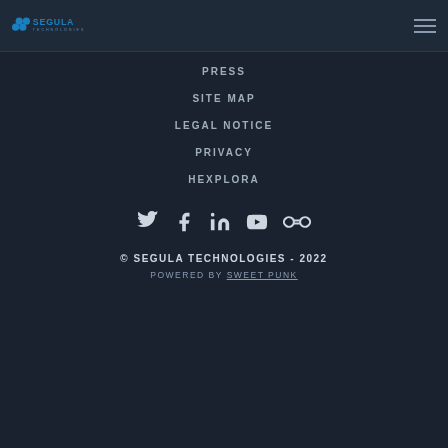[Figure (logo): Segula Technologies logo — blue hexagonal dots and blue text reading SEGULA TECHNOLOGIES]
[Figure (other): Hamburger menu icon — three horizontal lines]
PRESS
SITE MAP
LEGAL NOTICE
PRIVACY
HEXPLORA
[Figure (other): Social media icons row: Twitter, Facebook, LinkedIn, YouTube, Stylized infinity/chain link icon]
© SEGULA TECHNOLOGIES - 2022
POWERED BY SWEET PUNK